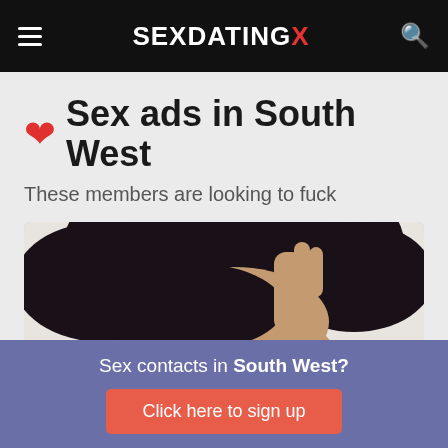SEXDATINGX
❤ Sex ads in South West
These members are looking to fuck
[Figure (photo): Close-up selfie photo of a dark-haired woman holding her hair up, looking at camera]
Sex contacts in South West?
Click here to sign up